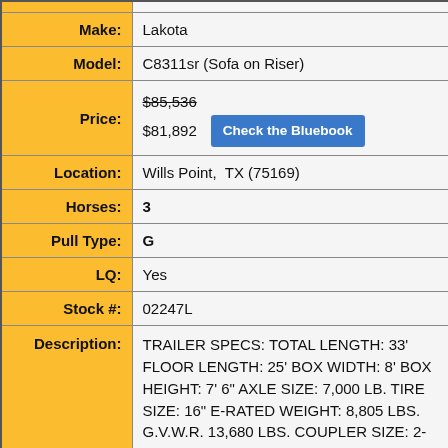| Field | Value |
| --- | --- |
| Make: | Lakota |
| Model: | C8311sr (Sofa on Riser) |
| Price: | $85,536 (strikethrough)
$81,892   Check the Bluebook |
| Location: | Wills Point,  TX (75169) |
| Horses: | 3 |
| Pull Type: | G |
| LQ: | Yes |
| Stock #: | 02247L |
| Description: | TRAILER SPECS: TOTAL LENGTH: 33' FLOOR LENGTH: 25' BOX WIDTH: 8' BOX HEIGHT: 7' 6" AXLE SIZE: 7,000 LB. TIRE SIZE: 16" E-RATED WEIGHT: 8,805 LBS. G.V.W.R. 13,680 LBS. COUPLER SIZE: 2-5/16" LOAD TYPE: SLANT NUMBER OF STALLS: 3 |